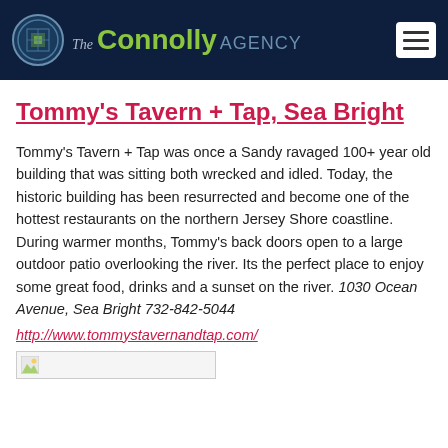The Connolly AGENCY
Tommy's Tavern + Tap, Sea Bright
Tommy's Tavern + Tap was once a Sandy ravaged 100+ year old building that was sitting both wrecked and idled. Today, the historic building has been resurrected and become one of the hottest restaurants on the northern Jersey Shore coastline. During warmer months, Tommy's back doors open to a large outdoor patio overlooking the river. Its the perfect place to enjoy some great food, drinks and a sunset on the river. 1030 Ocean Avenue, Sea Bright 732-842-5044
http://www.tommystavernandtap.com/
[Figure (photo): Small image placeholder thumbnail]